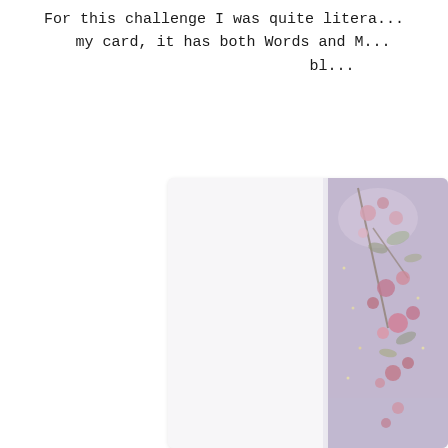For this challenge I was quite literally inspired by my card, it has both Words and M... bl...
[Figure (photo): A greeting card or artwork showing floral and botanical illustrations with purple and pink blooms against a textured lavender/grey background, partially visible at the right side of the image.]